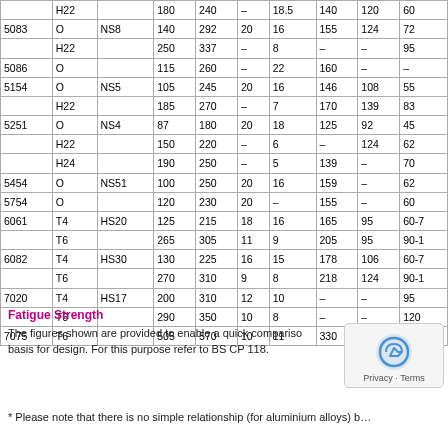|  | H22 |  | 180 | 240 | – | 18.5 | 140 | 120 | 60 |
| 5083 | O | NS8 | 140 | 292 | 20 | 16 | 155 | 124 | 72 |
|  | H22 |  | 250 | 337 | – | 8 | – | – | 95 |
| 5086 | O |  | 115 | 260 | – | 22 | 160 | – | – |
| 5154 | O | NS5 | 105 | 245 | 20 | 16 | 146 | 108 | 55 |
|  | H22 |  | 185 | 270 | – | 7 | 170 | 139 | 83 |
| 5251 | O | NS4 | 87 | 180 | 20 | 18 | 125 | 92 | 45 |
|  | H22 |  | 150 | 220 | – | 6 | – | 124 | 62 |
|  | H24 |  | 190 | 250 | – | 5 | 139 | – | 70 |
| 5454 | O | NS51 | 100 | 250 | 20 | 16 | 159 | – | 62 |
| 5754 | O |  | 120 | 230 | 20 | – | 155 | – | 60 |
| 6061 | T4 | HS20 | 125 | 215 | 18 | 16 | 165 | 95 | 60-7 |
|  | T6 |  | 265 | 305 | 11 | 9 | 205 | 95 | 90-1 |
| 6082 | T4 | HS30 | 130 | 225 | 16 | 15 | 178 | 106 | 60-7 |
|  | T6 |  | 270 | 310 | 9 | 8 | 218 | 124 | 90-1 |
| 7020 | T4 | HS17 | 200 | 310 | 12 | 10 | – | – | 95 |
|  | T6 |  | 290 | 350 | 10 | 8 | – | – | 120 |
| 7075 | T6 |  | 505 | 570 | 10 | 11 | 330 | 160 | 150 |
Fatigue Strength
The figures shown are provided to enable a quick comparison basis for design. For this purpose refer to BS CP 118.
* Please note that there is no simple relationship (for aluminium alloys) b…